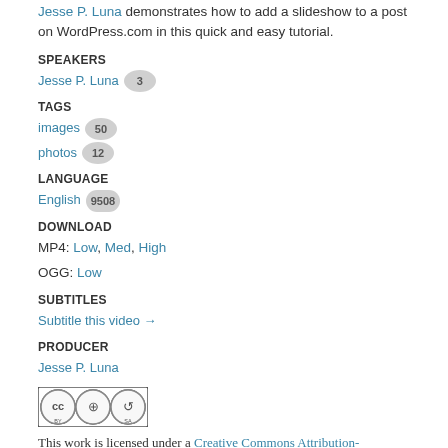Jesse P. Luna demonstrates how to add a slideshow to a post on WordPress.com in this quick and easy tutorial.
SPEAKERS
Jesse P. Luna  3
TAGS
images  50
photos  12
LANGUAGE
English  9508
DOWNLOAD
MP4: Low, Med, High
OGG: Low
SUBTITLES
Subtitle this video →
PRODUCER
Jesse P. Luna
[Figure (logo): Creative Commons CC BY SA license badge]
This work is licensed under a Creative Commons Attribution-ShareAlike 4.0 International License.